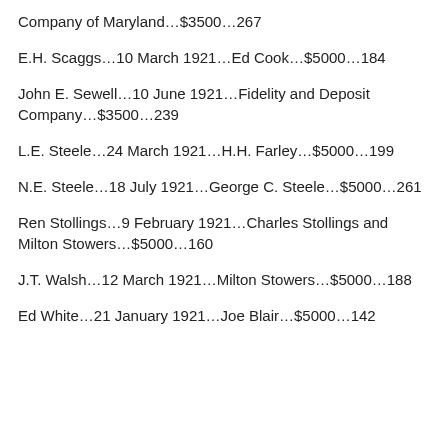Company of Maryland…$3500…267
E.H. Scaggs…10 March 1921…Ed Cook…$5000…184
John E. Sewell…10 June 1921…Fidelity and Deposit Company…$3500…239
L.E. Steele…24 March 1921…H.H. Farley…$5000…199
N.E. Steele…18 July 1921…George C. Steele…$5000…261
Ren Stollings…9 February 1921…Charles Stollings and Milton Stowers…$5000…160
J.T. Walsh…12 March 1921…Milton Stowers…$5000…188
Ed White…21 January 1921…Joe Blair…$5000…142